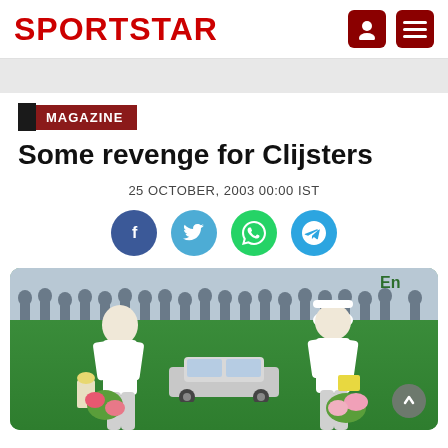SPORTSTAR
MAGAZINE
Some revenge for Clijsters
25 OCTOBER, 2003 00:00 IST
[Figure (photo): Two female tennis players standing on an indoor tennis court holding flowers and trophies, with a car between them and a crowd of people in the background. Green court surface visible. Text 'En' partially visible in upper right.]